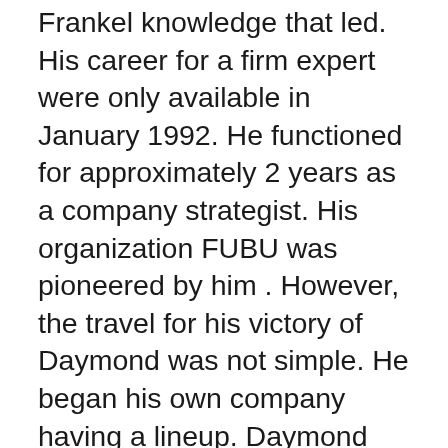Frankel knowledge that led. His career for a firm expert were only available in January 1992. He functioned for approximately 2 years as a company strategist. His organization FUBU was pioneered by him . However, the travel for his victory of Daymond was not simple. He began his own company having a lineup. Daymond hastens his home to 100K bucks to its mill, right soon following. Commencing his company huge numbers of persons motivated . In addition, he acts as an speaker, that promotes tens of thousands of men and women. Together with his expertise in FUBU being a creator, Raymond functioned as a tv personality to the industry series Shark Tank, at which he even gave opportunities to function together alongside his or her Because it's the award-winner for Emmy awards making